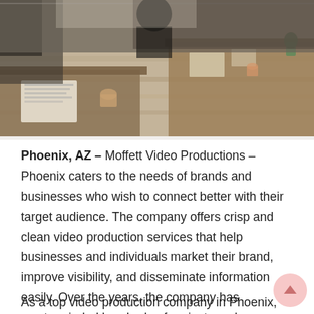[Figure (photo): Photo of people sitting at wooden tables in a cafe or coworking space, viewed from above, with documents and coffee cups on the tables. Warm wood tones and natural lighting.]
Phoenix, AZ – Moffett Video Productions – Phoenix caters to the needs of brands and businesses who wish to connect better with their target audience. The company offers crisp and clean video production services that help businesses and individuals market their brand, improve visibility, and disseminate information easily. Over the years, the company has masterminded hundreds of projects and continues to evolve to meet the needs of new and existing clients.
As a top video production company in Phoenix...